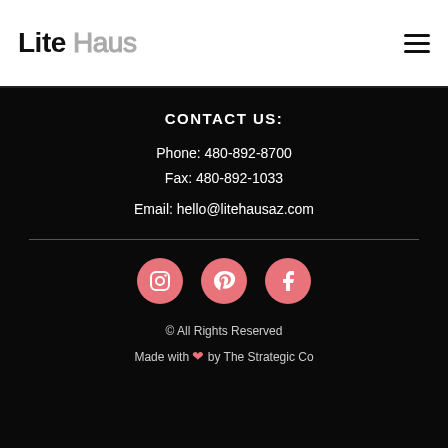[Figure (logo): LiteHaus logo with bold 'Lite' in black and outlined 'Haus' in gray]
[Figure (other): Hamburger menu icon (three horizontal lines)]
CONTACT US:
Phone: 480-892-8700
Fax: 480-892-1033
Email: hello@litehausaz.com
[Figure (other): Three pink/salmon circular social media icons: Instagram, Pinterest, Facebook]
© All Rights Reserved
Made with ❤ by The Strategic Co